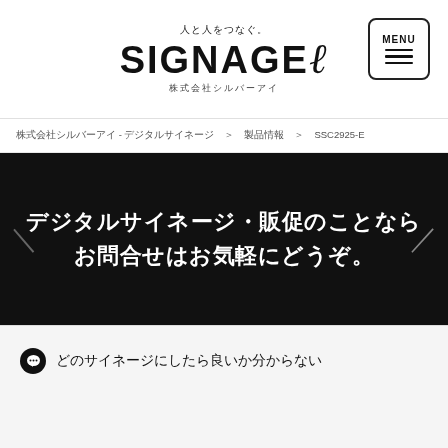人と人をつなぐ。SIGNAGE ℓ 株式会社シルバーアイ
株式会社シルバーアイ - デジタルサイネージ > 製品情報 > SSC2925-E
デジタルサイネージ・販促のことならお問合せはお気軽にどうぞ。
💬 どのサイネージにしたら良いか分からない